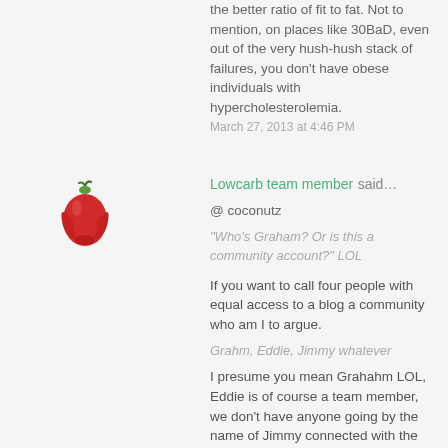the better ratio of fit to fat. Not to mention, on places like 30BaD, even out of the very hush-hush stack of failures, you don't have obese individuals with hypercholesterolemia.
March 27, 2013 at 4:46 PM
[Figure (illustration): Red bell pepper avatar icon]
Lowcarb team member said...
@ coconutz
"Who's Graham? Or is this a community account?" LOL
If you want to call four people with equal access to a blog a community who am I to argue.
Grahm, Eddie, Jimmy whatever
I presume you mean Graham LOL, Eddie is of course a team member, we don't have anyone going by the name of Jimmy connected with the blog.